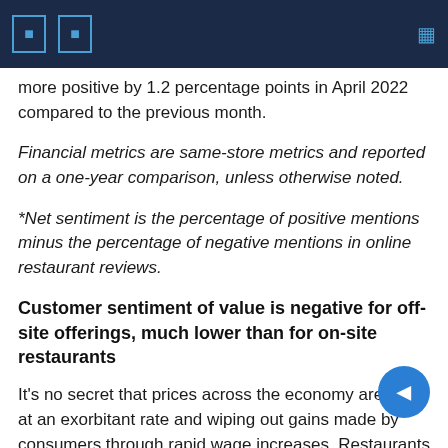more positive by 1.2 percentage points in April 2022 compared to the previous month.
Financial metrics are same-store metrics and reported on a one-year comparison, unless otherwise noted.
*Net sentiment is the percentage of positive mentions minus the percentage of negative mentions in online restaurant reviews.
Customer sentiment of value is negative for off-site offerings, much lower than for on-site restaurants
It's no secret that prices across the economy are rising at an exorbitant rate and wiping out gains made by consumers through rapid wage increases. Restaurants have been no exception, and the biggest concern is that the extraordinary